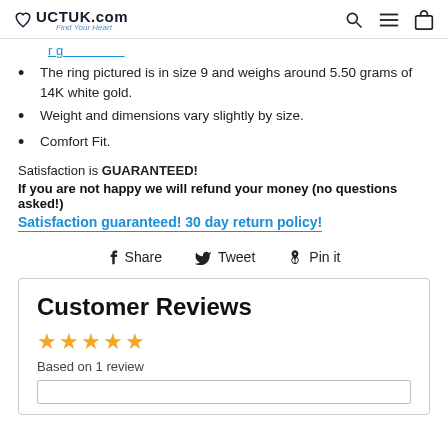UCTUK.com Find Your Heart
The ring pictured is in size 9 and weighs around 5.50 grams of 14K white gold.
Weight and dimensions vary slightly by size.
Comfort Fit.
Satisfaction is GUARANTEED!
If you are not happy we will refund your money (no questions asked!)
Satisfaction guaranteed! 30 day return policy!
Share   Tweet   Pin it
Customer Reviews
Based on 1 review